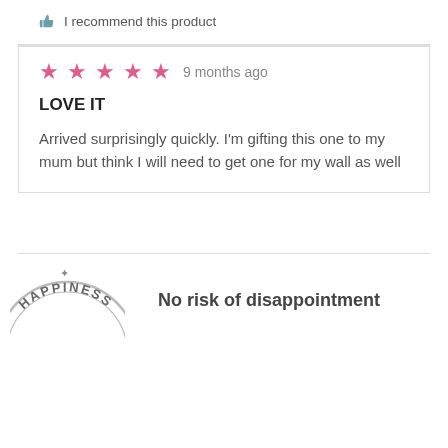I recommend this product
[Figure (other): 5 pink stars rating followed by '9 months ago' text]
LOVE IT
Arrived surprisingly quickly. I'm gifting this one to my mum but think I will need to get one for my wall as well
[Figure (other): Circular happiness stamp/seal logo (partial)]
No risk of disappointment